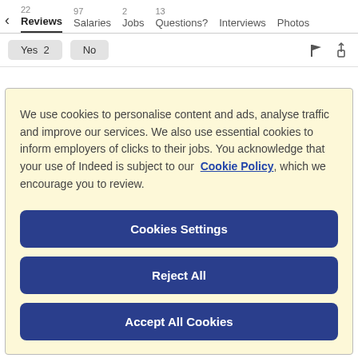< 22 Reviews  97 Salaries  2 Jobs  13 Questions?  Interviews  Photos
Yes 2   No
We use cookies to personalise content and ads, analyse traffic and improve our services. We also use essential cookies to inform employers of clicks to their jobs. You acknowledge that your use of Indeed is subject to our Cookie Policy, which we encourage you to review.
Cookies Settings
Reject All
Accept All Cookies